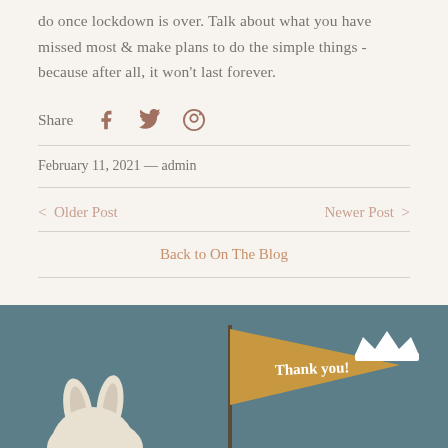do once lockdown is over. Talk about what you have missed most & make plans to do the simple things - because after all, it won't last forever.
Share
February 11, 2021 — admin
< Older Post
Newer Post >
Back to On The Blog
[Figure (illustration): Decorative footer section with teal/dark cyan background showing a cream-colored bunny silhouette on the left, a golden-tan pennant flag reading 'Thank you!' in white text, and a white crown icon on the upper right.]